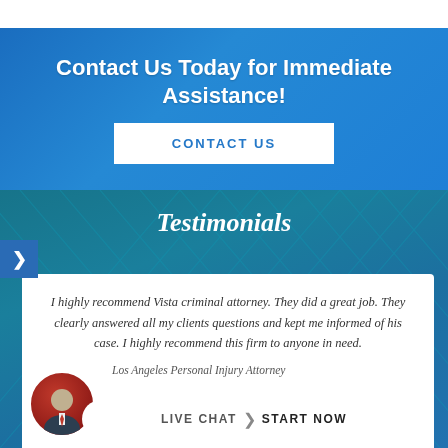Contact Us Today for Immediate Assistance!
CONTACT US
Testimonials
I highly recommend Vista criminal attorney. They did a great job. They clearly answered all my clients questions and kept me informed of his case. I highly recommend this firm to anyone in need.
Los Angeles Personal Injury Attorney
LIVE CHAT  ❯  START NOW